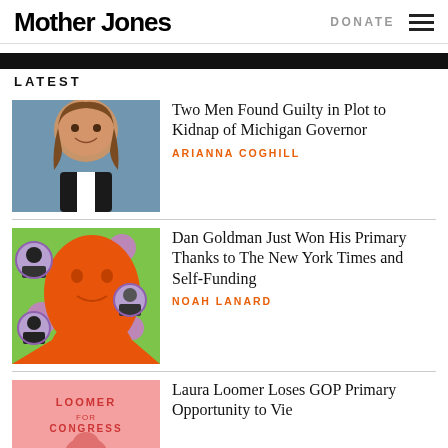Mother Jones | DONATE
LATEST
[Figure (photo): Photo of Michigan Governor smiling, blue curtain background]
Two Men Found Guilty in Plot to Kidnap of Michigan Governor
ARIANNA COGHILL
[Figure (illustration): Illustrated orange pop-art style portrait of Dan Goldman with small circular portraits on green background with purple dots]
Dan Goldman Just Won His Primary Thanks to The New York Times and Self-Funding
NOAH LANARD
[Figure (photo): Pink campaign image with text LOOMER FOR CONGRESS]
Laura Loomer Loses GOP Primary Opportunity to Vie